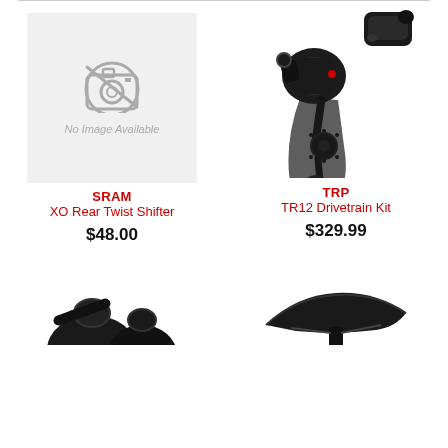[Figure (photo): No image available placeholder box with camera icon and text 'No Image Available']
[Figure (photo): TRP TR12 Drivetrain Kit product photo showing rear derailleur and shifter components in black]
SRAM
XO Rear Twist Shifter
$48.00
TRP
TR12 Drivetrain Kit
$329.99
[Figure (photo): Partial bottom image of bicycle components, left side, cropped]
[Figure (photo): Partial bottom image of bicycle saddle/component, right side, cropped]